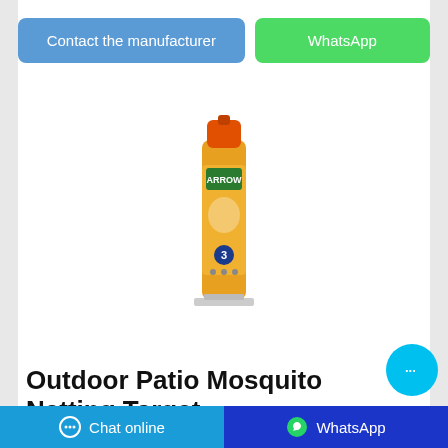[Figure (other): Blue 'Contact the manufacturer' button and green 'WhatsApp' button side by side]
[Figure (photo): Arrow brand mosquito spray can with orange cap and yellow/gold body, standing on a display stand]
Outdoor Patio Mosquito Netting Target
Patio Umbrella Mosquito Netting. Trademark Global. 2.7 out of 5 stars with 12 ratings. 12. $29.99. Free standard shipping with $35 orders. Not in stores. Add for shipping. 7'x12' Outdoor Dome with Shell, Mosquito Net & PVC Cover...
[Figure (other): Bottom navigation bar with cyan 'Chat online' button on left and blue 'WhatsApp' button on right]
[Figure (other): Cyan circular chat bubble button floating above bottom bar on right side]